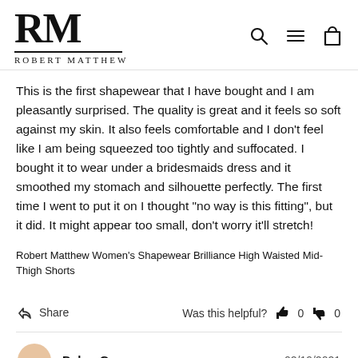[Figure (logo): Robert Matthew brand logo with large RM serif letters and full name below]
This is the first shapewear that I have bought and I am pleasantly surprised. The quality is great and it feels so soft against my skin. It also feels comfortable and I don't feel like I am being squeezed too tightly and suffocated. I bought it to wear under a bridesmaids dress and it smoothed my stomach and silhouette perfectly. The first time I went to put it on I thought “no way is this fitting”, but it did. It might appear too small, don't worry it'll stretch!
Robert Matthew Women's Shapewear Brilliance High Waisted Mid-Thigh Shorts
Share   Was this helpful?  👍 0  👎 0
Debra G.   02/19/2021